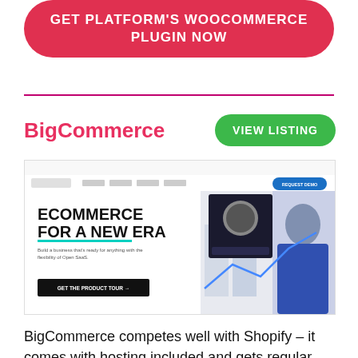[Figure (other): Red rounded CTA button with white text reading 'GET PLATFORM'S WOOCOMMERCE PLUGIN NOW']
BigCommerce
[Figure (screenshot): Screenshot of BigCommerce website homepage showing 'ECOMMERCE FOR A NEW ERA' headline with a man in blue shirt and product images]
BigCommerce competes well with Shopify – it comes with hosting included and gets regular